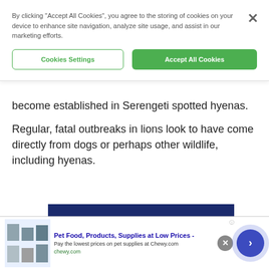By clicking "Accept All Cookies", you agree to the storing of cookies on your device to enhance site navigation, analyze site usage, and assist in our marketing efforts.
Cookies Settings | Accept All Cookies
become established in Serengeti spotted hyenas.
Regular, fatal outbreaks in lions look to have come directly from dogs or perhaps other wildlife, including hyenas.
[Figure (photo): Dark navy blue image placeholder rectangle]
Pet Food, Products, Supplies at Low Prices - Pay the lowest prices on pet supplies at Chewy.com chewy.com